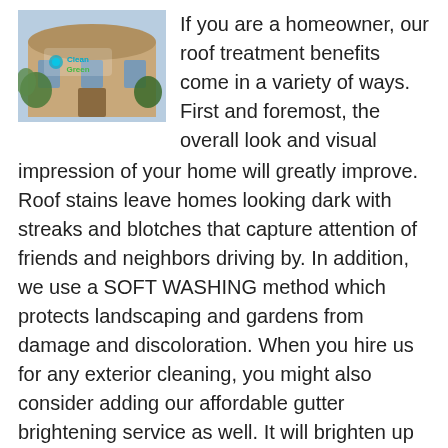[Figure (photo): Photo of a residential home exterior with stone facade, green trees and a logo overlay reading 'Clean Green']
If you are a homeowner, our roof treatment benefits come in a variety of ways. First and foremost, the overall look and visual impression of your home will greatly improve. Roof stains leave homes looking dark with streaks and blotches that capture attention of friends and neighbors driving by. In addition, we use a SOFT WASHING method which protects landscaping and gardens from damage and discoloration. When you hire us for any exterior cleaning, you might also consider adding our affordable gutter brightening service as well. It will brighten up your entire home and you may consider a house wash in the future.
COMMERCIAL PROPERTIES
While business owners have similar concerns about their